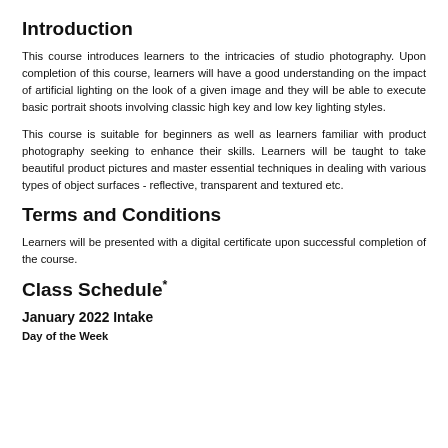Introduction
This course introduces learners to the intricacies of studio photography. Upon completion of this course, learners will have a good understanding on the impact of artificial lighting on the look of a given image and they will be able to execute basic portrait shoots involving classic high key and low key lighting styles.
This course is suitable for beginners as well as learners familiar with product photography seeking to enhance their skills. Learners will be taught to take beautiful product pictures and master essential techniques in dealing with various types of object surfaces - reflective, transparent and textured etc.
Terms and Conditions
Learners will be presented with a digital certificate upon successful completion of the course.
Class Schedule*
January 2022 Intake
Day of the Week